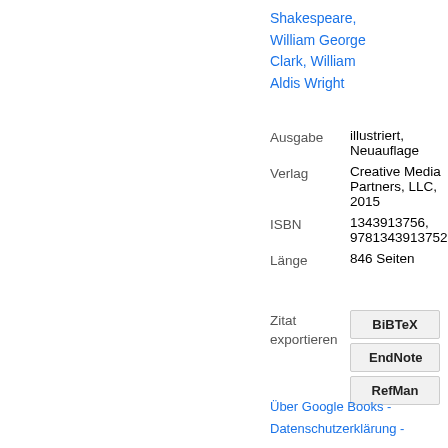Shakespeare, William George Clark, William Aldis Wright
| Ausgabe | illustriert, Neuauflage |
| Verlag | Creative Media Partners, LLC, 2015 |
| ISBN | 1343913756, 9781343913752 |
| Länge | 846 Seiten |
Zitat exportieren
BiBTeX
EndNote
RefMan
Über Google Books - Datenschutzerklärung -